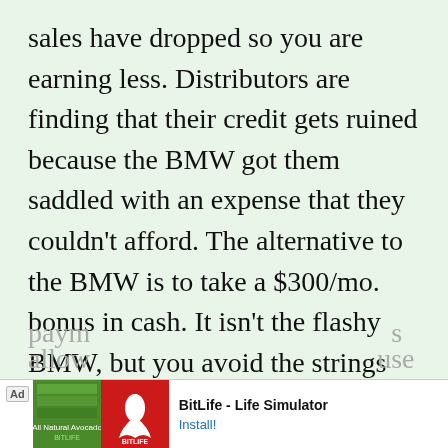sales have dropped so you are earning less. Distributors are finding that their credit gets ruined because the BMW got them saddled with an expense that they couldn't afford. The alternative to the BMW is to take a $300/mo. bonus in cash. It isn't the flashy BMW, but you avoid the strings attached.
It reminds me of the mortgage lenders in 2004 and 2005 offering people adjustable rate loans to give them low initial
paym... s allow... use
[Figure (other): Advertisement banner for BitLife - Life Simulator app, showing green and red app icons with 'Ad' label and 'Install!' button]